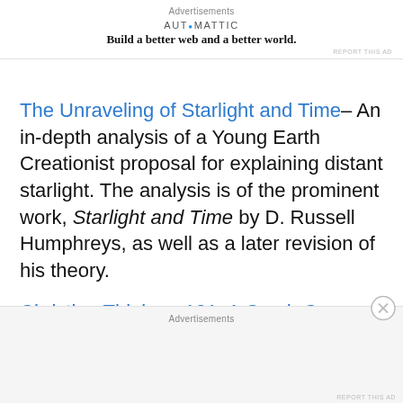Advertisements
[Figure (logo): Automattic logo with tagline: Build a better web and a better world.]
The Unraveling of Starlight and Time– An in-depth analysis of a Young Earth Creationist proposal for explaining distant starlight. The analysis is of the prominent work, Starlight and Time by D. Russell Humphreys, as well as a later revision of his theory.
Christian Thinkers 101: A Crash Course on Blaise Pascal– Pascal is most often known for his (in)famous Pascal's Wager (I defend this argument here). Yet there is a lot more to this thinker than you may know. Read on for an
Advertisements